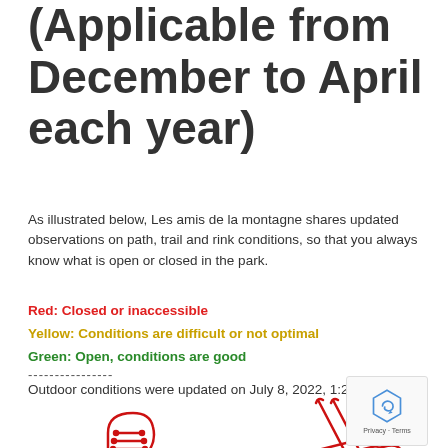(Applicable from December to April each year)
As illustrated below, Les amis de la montagne shares updated observations on path, trail and rink conditions, so that you always know what is open or closed in the park.
Red: Closed or inaccessible
Yellow: Conditions are difficult or not optimal
Green: Open, conditions are good
----------------
Outdoor conditions were updated on July 8, 2022, 1:21 p.m.
[Figure (illustration): Red line drawing of an ice skate boot]
[Figure (illustration): Red line drawing of skis and poles]